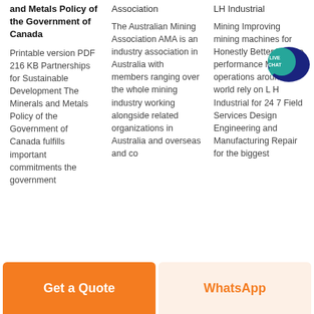and Metals Policy of the Government of Canada
Association
LH Industrial
Printable version PDF 216 KB Partnerships for Sustainable Development The Minerals and Metals Policy of the Government of Canada fulfills important commitments the government
The Australian Mining Association AMA is an industry association in Australia with members ranging over the whole mining industry working alongside related organizations in Australia and overseas and co
Mining Improving mining machines for Honestly Better lifetime performance Mining operations around the world rely on L H Industrial for 24 7 Field Services Design Engineering and Manufacturing Repair for the biggest
[Figure (other): Live Chat speech bubble icon in teal/dark blue with white text 'LIVE CHAT']
Get a Quote
WhatsApp